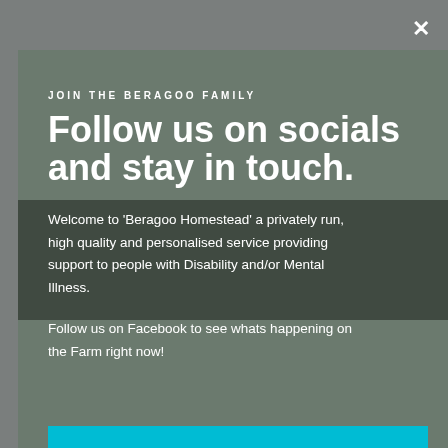×
JOIN THE BERAGOO FAMILY
Follow us on socials and stay in touch.
Welcome to 'Beragoo Homestead' a privately run, high quality and personalised service providing support to people with Disability and/or Mental Illness.
Follow us on Facebook to see whats happening on the Farm right now!